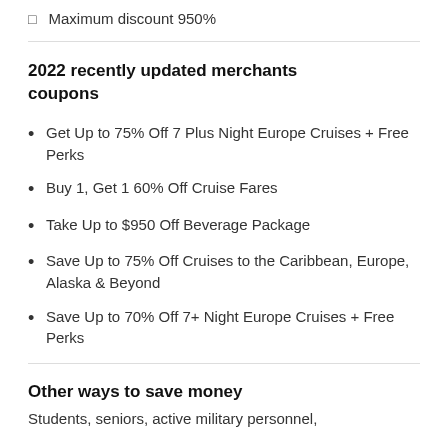Maximum discount 950%
2022 recently updated merchants coupons
Get Up to 75% Off 7 Plus Night Europe Cruises + Free Perks
Buy 1, Get 1 60% Off Cruise Fares
Take Up to $950 Off Beverage Package
Save Up to 75% Off Cruises to the Caribbean, Europe, Alaska & Beyond
Save Up to 70% Off 7+ Night Europe Cruises + Free Perks
Other ways to save money
Students, seniors, active military personnel,